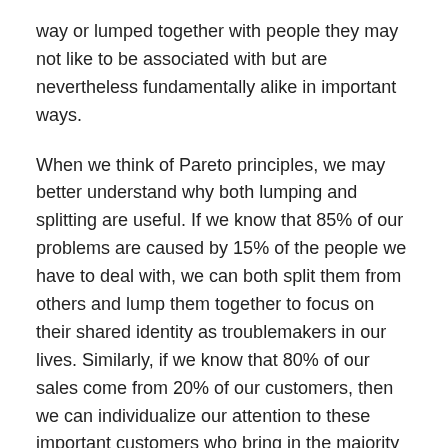way or lumped together with people they may not like to be associated with but are nevertheless fundamentally alike in important ways.
When we think of Pareto principles, we may better understand why both lumping and splitting are useful. If we know that 85% of our problems are caused by 15% of the people we have to deal with, we can both split them from others and lump them together to focus on their shared identity as troublemakers in our lives. Similarly, if we know that 80% of our sales come from 20% of our customers, then we can individualize our attention to these important customers who bring in the majority of our business to ensure that we are not missing opportunities to improve our relationship with them. In these cases we must determine what are the important aspects that drive